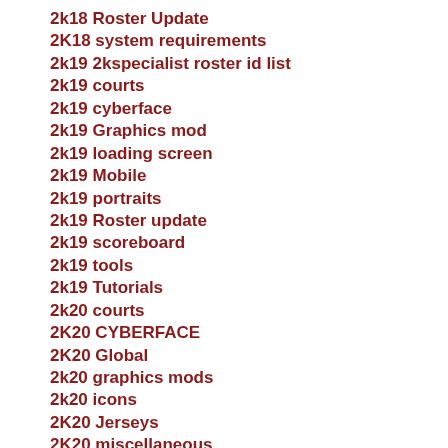2k18 Roster Update
2K18 system requirements
2k19 2kspecialist roster id list
2k19 courts
2k19 cyberface
2k19 Graphics mod
2k19 loading screen
2k19 Mobile
2k19 portraits
2k19 Roster update
2k19 scoreboard
2k19 tools
2k19 Tutorials
2k20 courts
2K20 CYBERFACE
2K20 Global
2k20 graphics mods
2k20 icons
2K20 Jerseys
2K20 miscellaneous
2k20 patch
2K20 PHOTOS